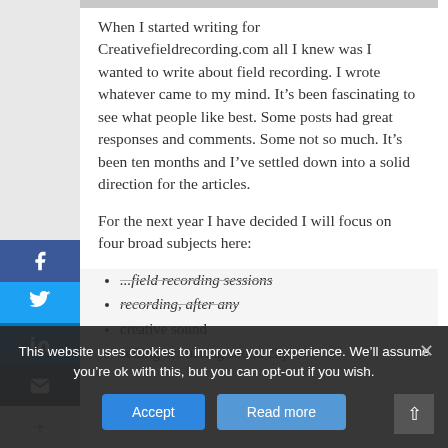When I started writing for Creativefieldrecording.com all I knew was I wanted to write about field recording. I wrote whatever came to my mind. It's been fascinating to see what people like best. Some posts had great responses and comments. Some not so much. It's been ten months and I've settled down into a solid direction for the articles.
For the next year I have decided I will focus on four broad subjects here:
...field recording sessions
recording, after any
creative sound
selling or sharing sound clips
This website uses cookies to improve your experience. We'll assume you're ok with this, but you can opt-out if you wish.